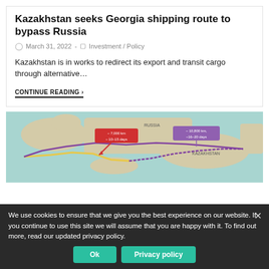Kazakhstan seeks Georgia shipping route to bypass Russia
March 31, 2022 - Investment / Policy
Kazakhstan is in works to redirect its export and transit cargo through alternative…
CONTINUE READING ›
[Figure (map): A map showing shipping/transit routes from Kazakhstan westward through Europe and Russia, with two labeled route annotations: one red box '~7,000 km, ~10-15 days' and one purple box '~10,800 km, ~16-20 days', with purple and yellow lines showing different route paths.]
We use cookies to ensure that we give you the best experience on our website. If you continue to use this site we will assume that you are happy with it. To find out more, read our updated privacy policy. ×
Ok   Privacy policy